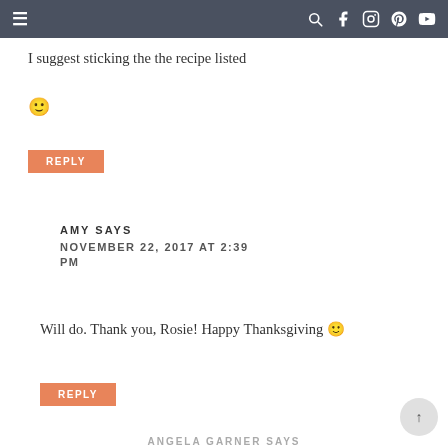≡  🔍 f 📷 p ▶
I suggest sticking the the recipe listed 🙂
REPLY
AMY SAYS
NOVEMBER 22, 2017 AT 2:39 PM
Will do. Thank you, Rosie! Happy Thanksgiving 🙂
REPLY
ANGELA GARNER SAYS